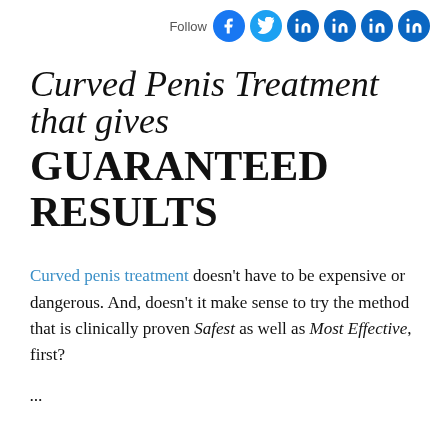Follow [social icons: Facebook, Twitter, LinkedIn x4]
Curved Penis Treatment that gives GUARANTEED RESULTS
Curved penis treatment doesn't have to be expensive or dangerous. And, doesn't it make sense to try the method that is clinically proven Safest as well as Most Effective, first?
...